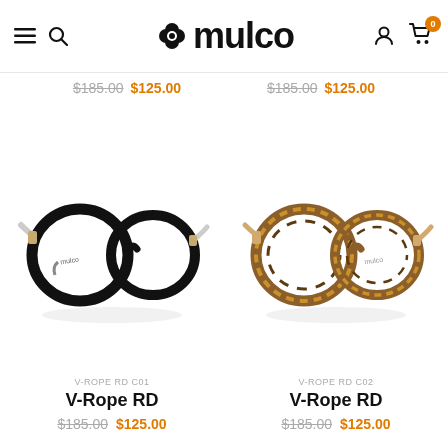Omulco navigation header with logo, menu, search, account and cart icons
$185.00  $125.00    $185.00  $125.00
[Figure (photo): Round eyeglass frames, black color with silver arms, V-Rope RD C01 model by Omulco]
[Figure (photo): Round eyeglass frames, tortoise/amber color with gold arms, V-Rope RD C02 model by Omulco]
V-ROPE RD C01
V-Rope RD
$185.00  $125.00
V-ROPE RD C02
V-Rope RD
$185.00  $125.00